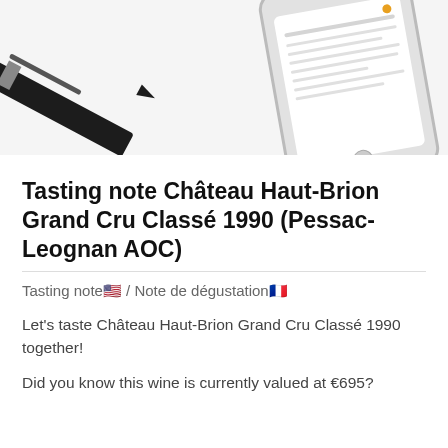[Figure (photo): Top portion of a webpage showing a pen and a smartphone with a list on the screen, on a white/light grey background.]
Tasting note Château Haut-Brion Grand Cru Classé 1990 (Pessac-Leognan AOC)
Tasting note🇺🇸 / Note de dégustation🇫🇷
Let's taste Château Haut-Brion Grand Cru Classé 1990 together!
Did you know this wine is currently valued at €695?